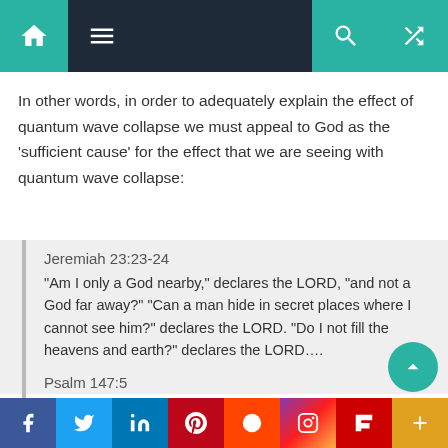Navigation bar with home, menu, search, and shuffle icons
In other words, in order to adequately explain the effect of quantum wave collapse we must appeal to God as the ‘sufficient cause’ for the effect that we are seeing with quantum wave collapse:
Jeremiah 23:23-24
“Am I only a God nearby,” declares the LORD, “and not a God far away?” “Can a man hide in secret places where I cannot see him?” declares the LORD. “Do I not fill the heavens and earth?” declares the LORD....
Psalm 147:5
Great is our Lord, and mighty in power; his understanding is infinite.
Facebook Twitter LinkedIn Pinterest Reddit Instagram Flipboard More